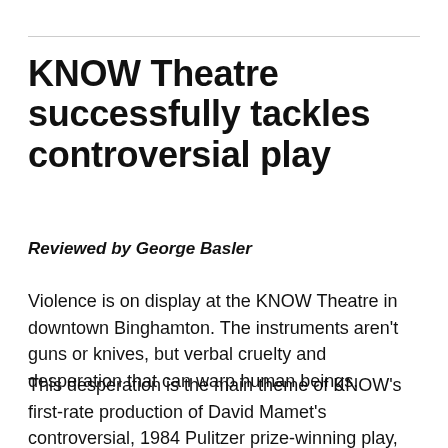KNOW Theatre successfully tackles controversial play
Reviewed by George Basler
Violence is on display at the KNOW Theatre in downtown Binghamton. The instruments aren't guns or knives, but verbal cruelty and desperation that can warp human beings.
This desperation is the main theme of KNOW's first-rate production of David Mamet's controversial, 1984 Pulitzer prize-winning play, Glengarry Glen Ross. Set in a Chicago real estate office, the play focuses on a group of salesmen willing to go to any lengths to survive in the dog-eat-dog